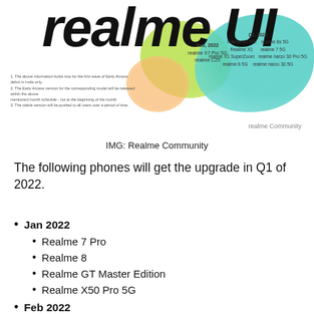[Figure (illustration): Realme UI 3.0 promotional banner with large italic bold text 'realme UI' partially visible, colorful blobs (green, teal, orange), small text listing phone models scheduled for Feb 2022 and Q2 2022 updates, and 'realme Community' watermark.]
IMG: Realme Community
The following phones will get the upgrade in Q1 of 2022.
Jan 2022
Realme 7 Pro
Realme 8
Realme GT Master Edition
Realme X50 Pro 5G
Feb 2022
Realme X7 Pro 5G